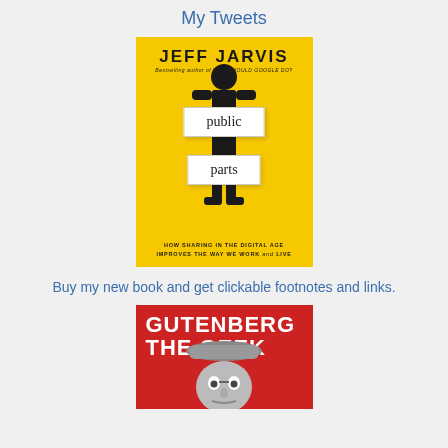My Tweets
[Figure (illustration): Book cover: Public Parts by Jeff Jarvis. Yellow background with stick figure holding two white label tags reading 'public' and 'parts'. Subtitle: HOW SHARING IN THE DIGITAL AGE IMPROVES THE WAY WE WORK and LIVE]
Buy my new book and get clickable footnotes and links.
[Figure (illustration): Book cover: Gutenberg the Geek. Red background with bold white title text and a black-and-white portrait of a man wearing a beanie/cap at the bottom.]